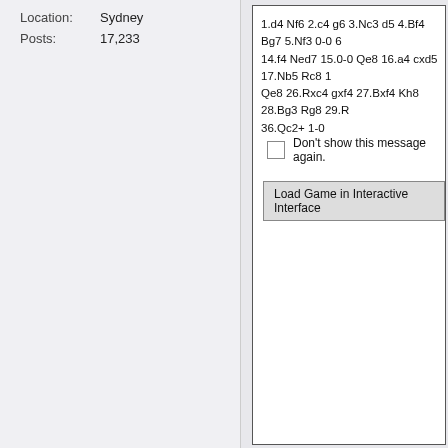Location: Sydney
Posts: 17,233
1.d4 Nf6 2.c4 g6 3.Nc3 d5 4.Bf4 Bg7 5.Nf3 0-0 6... 14.f4 Ned7 15.0-0 Qe8 16.a4 cxd5 17.Nb5 Rc8 1... Qe8 26.Rxc4 gxf4 27.Bxf4 Kh8 28.Bg3 Rg8 29.R... 36.Qc2+ 1-0
Don't show this message again.
Load Game in Interactive Interface